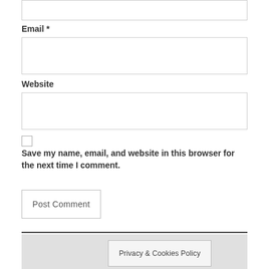Email *
Website
Save my name, email, and website in this browser for the next time I comment.
Post Comment
Privacy & Cookies Policy